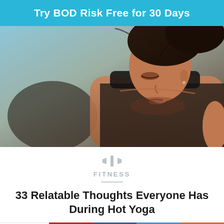Try BOD Risk Free for 30 Days
[Figure (photo): Close-up photo of a woman with dark hair pulled back, wearing a black sports bra, leaning forward during a workout. Her face is slightly flushed and her expression is focused/exhausted.]
FITNESS
33 Relatable Thoughts Everyone Has During Hot Yoga
4 Shares
[Figure (infographic): Social share bar with Pinterest (4 shares), Facebook, SMS, and Yummly buttons]